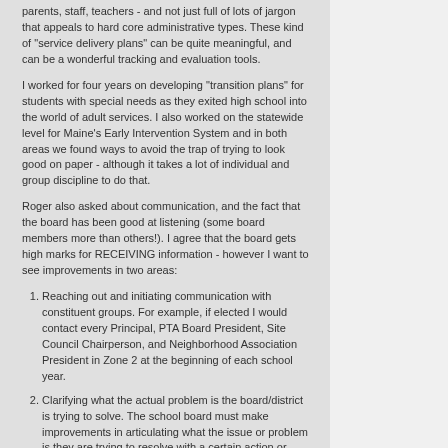parents, staff, teachers - and not just full of lots of jargon that appeals to hard core administrative types. These kind of "service delivery plans" can be quite meaningful, and can be a wonderful tracking and evaluation tools.
I worked for four years on developing "transition plans" for students with special needs as they exited high school into the world of adult services. I also worked on the statewide level for Maine's Early Intervention System and in both areas we found ways to avoid the trap of trying to look good on paper - although it takes a lot of individual and group discipline to do that.
Roger also asked about communication, and the fact that the board has been good at listening (some board members more than others!). I agree that the board gets high marks for RECEIVING information - however I want to see improvements in two areas:
Reaching out and initiating communication with constituent groups. For example, if elected I would contact every Principal, PTA Board President, Site Council Chairperson, and Neighborhood Association President in Zone 2 at the beginning of each school year.
Clarifying what the actual problem is the board/district is trying to solve. The school board must make improvements in articulating what the issue or problem is they are trying to resolve with a certain action or policy. And it needs to be what the real problem is.
I am still struggling to understand the reasons for some of the school closures and reconfigurations that happened so quickly last spring. When was the district trying to create cost savings (which will probably be less than they hoped for) by closing a building that had a lot of empty classrooms - and when were they trying to help student achievement by reconfiguring to a K-8? (And there is not clear evidence that a K-8 model will help student achievement.) This paints